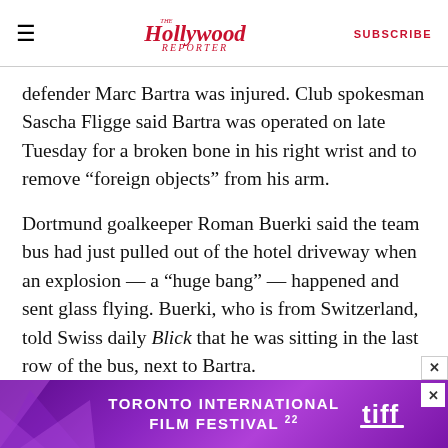≡  The Hollywood Reporter  SUBSCRIBE
defender Marc Bartra was injured. Club spokesman Sascha Fligge said Bartra was operated on late Tuesday for a broken bone in his right wrist and to remove “foreign objects” from his arm.
Dortmund goalkeeper Roman Buerki said the team bus had just pulled out of the hotel driveway when an explosion — a “huge bang” — happened and sent glass flying. Buerki, who is from Switzerland, told Swiss daily Blick that he was sitting in the last row of the bus, next to Bartra.
Bartra was hit by shards from the broken back
[Figure (infographic): Advertisement banner for Toronto International Film Festival 2022 (TIFF) with purple gradient background, triangular graphic elements, white bold text, and TIFF logo on the right.]